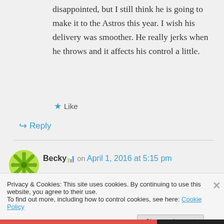disappointed, but I still think he is going to make it to the Astros this year. I wish his delivery was smoother. He really jerks when he throws and it affects his control a little.
★ Like
↳ Reply
Becky 🔢 on April 1, 2016 at 5:15 pm
Privacy & Cookies: This site uses cookies. By continuing to use this website, you agree to their use.
To find out more, including how to control cookies, see here: Cookie Policy
Close and accept